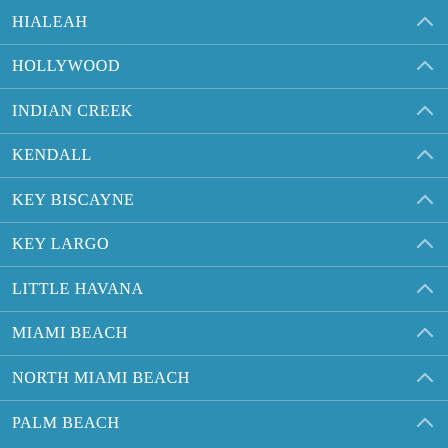HIALEAH
HOLLYWOOD
INDIAN CREEK
KENDALL
KEY BISCAYNE
KEY LARGO
LITTLE HAVANA
MIAMI BEACH
NORTH MIAMI BEACH
PALM BEACH